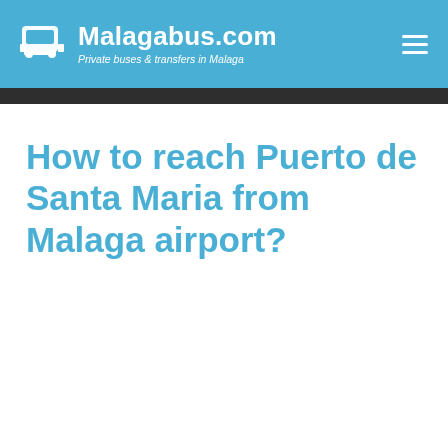Malagabus.com — Private buses & transfers in Malaga
How to reach Puerto de Santa Maria from Malaga airport?